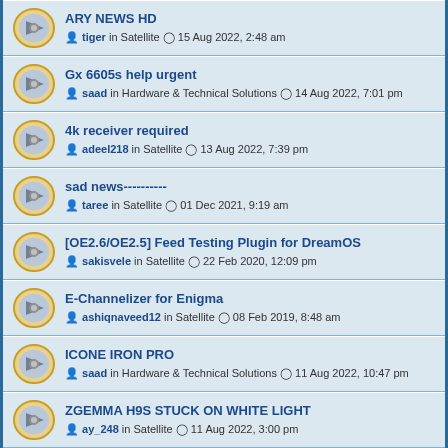ARY NEWS HD — tiger in Satellite, 15 Aug 2022, 2:48 am
Gx 6605s help urgent — saad in Hardware & Technical Solutions, 14 Aug 2022, 7:01 pm
4k receiver required — adeel218 in Satellite, 13 Aug 2022, 7:39 pm
sad news---------- — taree in Satellite, 01 Dec 2021, 9:19 am
[OE2.6/OE2.5] Feed Testing Plugin for DreamOS — sakisvele in Satellite, 22 Feb 2020, 12:09 pm
E-Channelizer for Enigma — ashiqnaveed12 in Satellite, 08 Feb 2019, 8:48 am
ICONE IRON PRO — saad in Hardware & Technical Solutions, 11 Aug 2022, 10:47 pm
ZGEMMA H9S STUCK ON WHITE LIGHT — ay_248 in Satellite, 11 Aug 2022, 3:00 pm
Hyper 2000 hd For Sale / Exchange — abdulmalik in Satellite, 12 Aug 2022, 10:29 am
Recharge Forever Server/CCCAM Or Any Other Option? — Agha Jamal in Satellite, 29 Sep 2019, 2:40 pm
(Version 2.0.00) for StarTrack 2020 HD Plus Spark Receiver (Video)